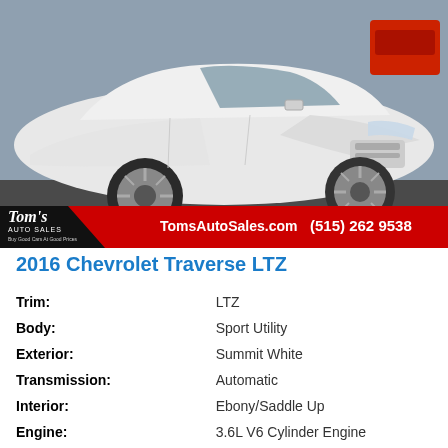[Figure (photo): White 2016 Chevrolet Traverse LTZ SUV photographed in a dealer lot, front three-quarter view. Dealer banner at bottom with Tom's Auto Sales logo, TomsAutoSales.com, and (515) 262 9538.]
2016 Chevrolet Traverse LTZ
| Trim: | LTZ |
| Body: | Sport Utility |
| Exterior: | Summit White |
| Transmission: | Automatic |
| Interior: | Ebony/Saddle Up |
| Engine: | 3.6L V6 Cylinder Engine |